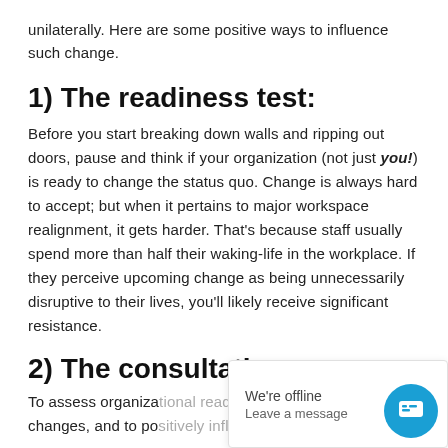unilaterally. Here are some positive ways to influence such change.
1) The readiness test:
Before you start breaking down walls and ripping out doors, pause and think if your organization (not just you!) is ready to change the status quo. Change is always hard to accept; but when it pertains to major workspace realignment, it gets harder. That's because staff usually spend more than half their waking-life in the workplace. If they perceive upcoming change as being unnecessarily disruptive to their lives, you'll likely receive significant resistance.
2) The consultation process:
To assess organizational readiness to workspace changes, and to positively influence such change, yo...